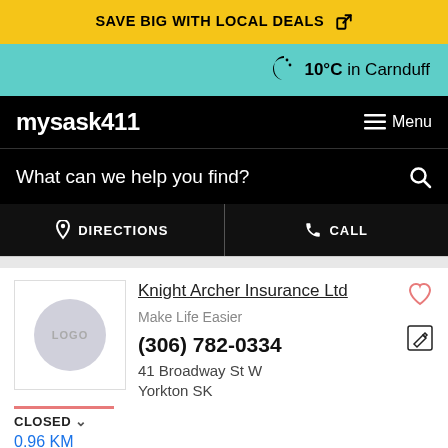SAVE BIG WITH LOCAL DEALS
10°C in Carnduff
mysask411
≡ Menu
What can we help you find?
DIRECTIONS
CALL
[Figure (logo): LOGO placeholder circle]
Knight Archer Insurance Ltd
Make Life Easier
(306) 782-0334
41 Broadway St W
Yorkton SK
CLOSED  0.96 KM